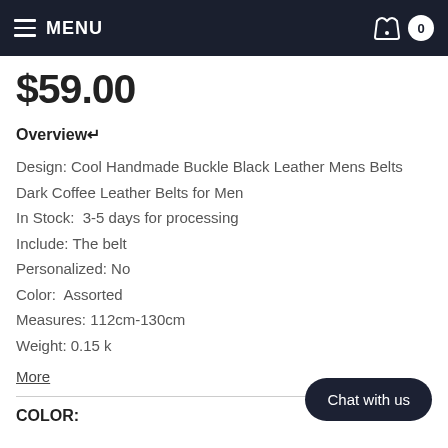MENU  0
$59.00
Overview↵
Design: Cool Handmade Buckle Black Leather Mens Belts
Dark Coffee Leather Belts for Men
In Stock:  3-5 days for processing
Include: The belt
Personalized: No
Color:  Assorted
Measures: 112cm-130cm
Weight: 0.15 k
More
COLOR: